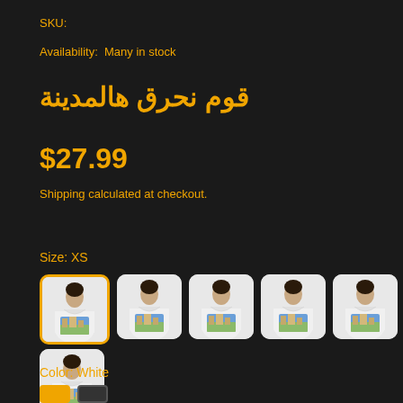SKU:
Availability:  Many in stock
قوم نحرق هالمدينة
$27.99
Shipping calculated at checkout.
Size: XS
[Figure (photo): Six thumbnail images of a person wearing a white hoodie holding a large graphic print. First thumbnail has a gold border indicating selection. Arranged in a row of five plus one below.]
Color: White
[Figure (photo): Two color swatches at bottom: gold/yellow and dark gray/black.]